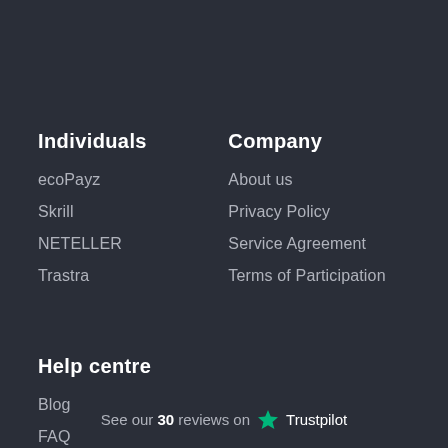Individuals
ecoPayz
Skrill
NETELLER
Trastra
Company
About us
Privacy Policy
Service Agreement
Terms of Participation
Help centre
Blog
FAQ
Contact Us
See our 30 reviews on Trustpilot